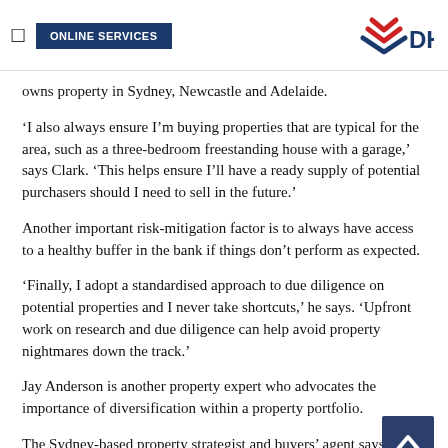ONLINE SERVICES | DHA
owns property in Sydney, Newcastle and Adelaide.
‘I also always ensure I’m buying properties that are typical for the area, such as a three-bedroom freestanding house with a garage,’ says Clark. ‘This helps ensure I’ll have a ready supply of potential purchasers should I need to sell in the future.’
Another important risk-mitigation factor is to always have access to a healthy buffer in the bank if things don’t perform as expected.
‘Finally, I adopt a standardised approach to due diligence on potential properties and I never take shortcuts,’ he says. ‘Upfront work on research and due diligence can help avoid property nightmares down the track.’
Jay Anderson is another property expert who advocates the importance of diversification within a property portfolio.
The Sydney-based property strategist and buyers’ agent says it’s